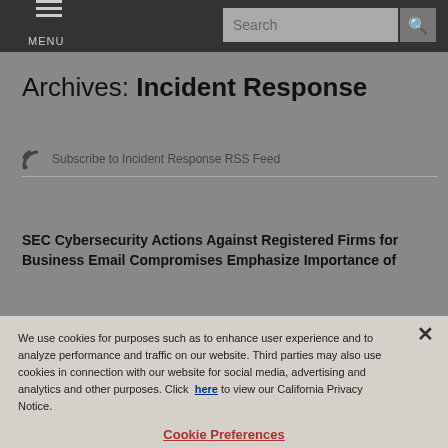MENU  Search
Archives: Incident Response
Subscribe to Incident Response RSS Feed
SEC Cybersecurity Actions Against Registered Firms for Business Email Compromises Emphasize Importance of
We use cookies for purposes such as to enhance user experience and to analyze performance and traffic on our website. Third parties may also use cookies in connection with our website for social media, advertising and analytics and other purposes. Click here to view our California Privacy Notice.
Cookie Preferences